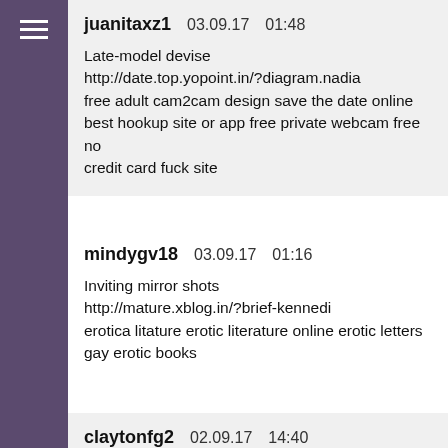juanitaxz1   03.09.17   01:48

Late-model devise
http://date.top.yopoint.in/?diagram.nadia
free adult cam2cam design save the date online
best hookup site or app free private webcam free no credit card fuck site
mindygv18   03.09.17   01:16

Inviting mirror shots
http://mature.xblog.in/?brief-kennedi
erotica litature erotic literature online erotic letters gay erotic books
claytonfg2   02.09.17   14:40

My new time
system android download free free app for